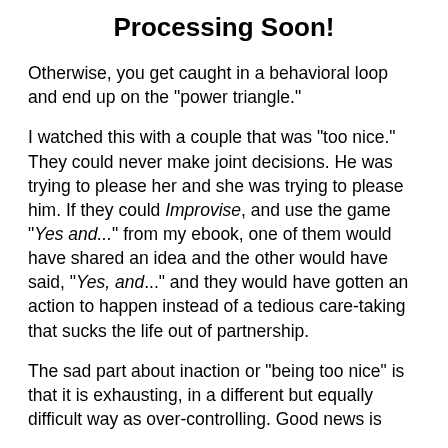Processing Soon!
Otherwise, you get caught in a behavioral loop and end up on the "power triangle."
I watched this with a couple that was "too nice." They could never make joint decisions. He was trying to please her and she was trying to please him. If they could Improvise, and use the game "Yes and..." from my ebook, one of them would have shared an idea and the other would have said, "Yes, and..." and they would have gotten an action to happen instead of a tedious care-taking that sucks the life out of partnership.
The sad part about inaction or "being too nice" is that it is exhausting, in a different but equally difficult way as over-controlling. Good news is